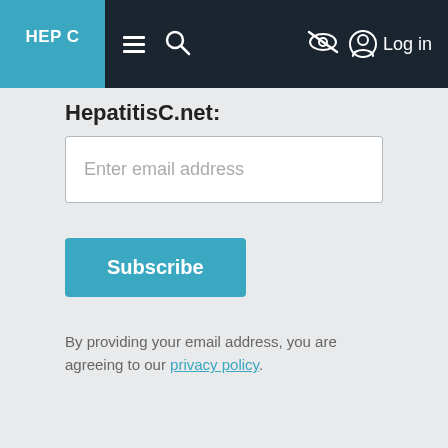HEP C | HepatitisC.net — Navigation bar with menu, search, eye-slash, and Log in
HepatitisC.net:
[Figure (screenshot): Email input field with placeholder text 'Enter email address']
[Figure (screenshot): Subscribe button]
By providing your email address, you are agreeing to our privacy policy.